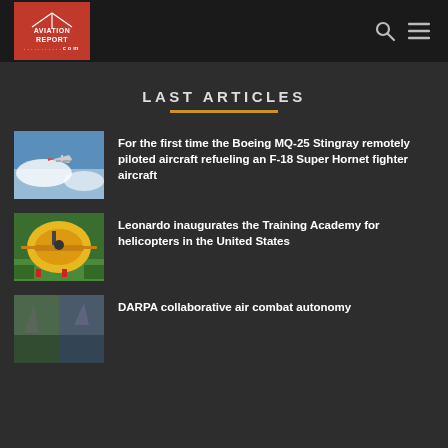AVIATION REPORT .com
LAST ARTICLES
[Figure (photo): Boeing MQ-25 Stingray remotely piloted aircraft in flight above clouds]
For the first time the Boeing MQ-25 Stingray remotely piloted aircraft refueling an F-18 Super Hornet fighter aircraft
[Figure (photo): Yellow and red Leonardo helicopter on a grass field]
Leonardo inaugurates the Training Academy for helicopters in the United States
[Figure (photo): Split thumbnail showing aerial/combat imagery for DARPA article]
DARPA collaborative air combat autonomy